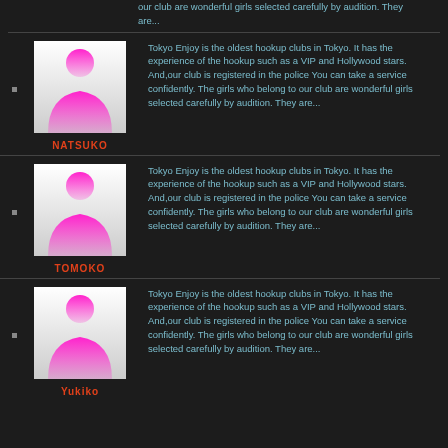our club are wonderful girls selected carefully by audition. They are...
[Figure (illustration): Pink silhouette avatar of a person on white/fading background]
NATSUKO
Tokyo Enjoy is the oldest hookup clubs in Tokyo. It has the experience of the hookup such as a VIP and Hollywood stars. And,our club is registered in the police You can take a service confidently. The girls who belong to our club are wonderful girls selected carefully by audition. They are...
[Figure (illustration): Pink silhouette avatar of a person on white/fading background]
TOMOKO
Tokyo Enjoy is the oldest hookup clubs in Tokyo. It has the experience of the hookup such as a VIP and Hollywood stars. And,our club is registered in the police You can take a service confidently. The girls who belong to our club are wonderful girls selected carefully by audition. They are...
[Figure (illustration): Pink silhouette avatar of a person on white/fading background]
Yukiko
Tokyo Enjoy is the oldest hookup clubs in Tokyo. It has the experience of the hookup such as a VIP and Hollywood stars. And,our club is registered in the police You can take a service confidently. The girls who belong to our club are wonderful girls selected carefully by audition. They are...